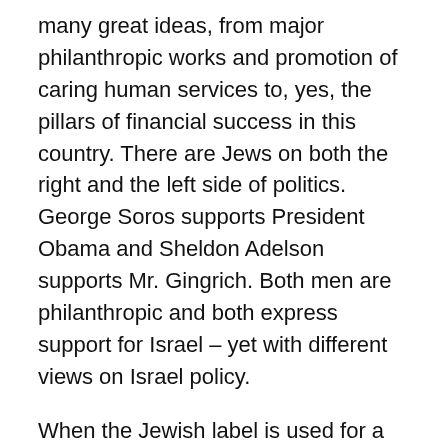many great ideas, from major philanthropic works and promotion of caring human services to, yes, the pillars of financial success in this country. There are Jews on both the right and the left side of politics. George Soros supports President Obama and Sheldon Adelson supports Mr. Gingrich. Both men are philanthropic and both express support for Israel – yet with different views on Israel policy.
When the Jewish label is used for a campaign pitch, as it was in Florida this week, it not only cheapens the value of the true Jewish contribution to the country, but borders on leveling an old anti-Semitic charge: frugality.
One of the oldest stereotypes of Jews is that they are cheap, despite the fact that Jews have been and remain some of the biggest charitable donors around the world and that political candidates often seek and generate